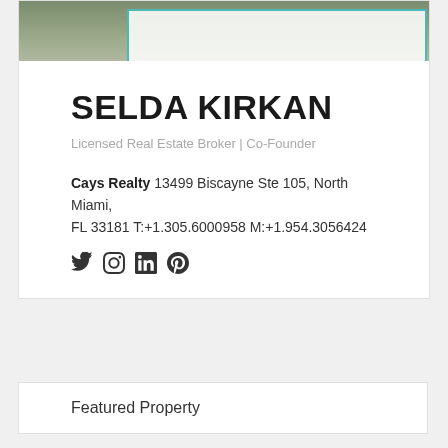[Figure (photo): Photo of Selda Kirkan with teal bordered overlay box]
SELDA KIRKAN
Licensed Real Estate Broker | Co-Founder
Cays Realty 13499 Biscayne Ste 105, North Miami, FL 33181 T:+1.305.6000958 M:+1.954.3056424
[Figure (infographic): Social media icons: Twitter, Instagram, LinkedIn, Pinterest]
Featured Property